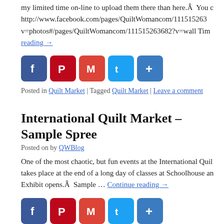my limited time on-line to upload them there than here.Â  You can find them at http://www.facebook.com/pages/QuiltWomancom/111515263682?v=photos#/pages/QuiltWomancom/111515263682?v=wall Time... Continue reading →
[Figure (infographic): Social sharing icons: Facebook, Pinterest, Gmail, Twitter, Share (plus)]
Posted in Quilt Market | Tagged Quilt Market | Leave a comment
International Quilt Market – Sample Spree...
Posted on by QWBlog
One of the most chaotic, but fun events at the International Quilt... takes place at the end of a long day of classes at Schoolhouse an... Exhibit opens.Â  Sample … Continue reading →
[Figure (infographic): Social sharing icons: Facebook, Pinterest, Gmail, Twitter, Share (plus)]